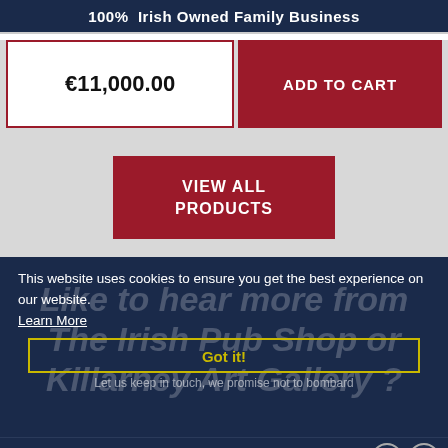100%  Irish Owned Family Business
€11,000.00
ADD TO CART
VIEW ALL PRODUCTS
This website uses cookies to ensure you get the best experience on our website. Learn More
[Figure (screenshot): Overlay text: Like to hear more from The Irish Pub Shop or Killarney Art Gallery?]
Got it!
Let us keep in touch, we promise not to bombard
MENU   THE IRISH PUB SHOP Killarney Art Gallery